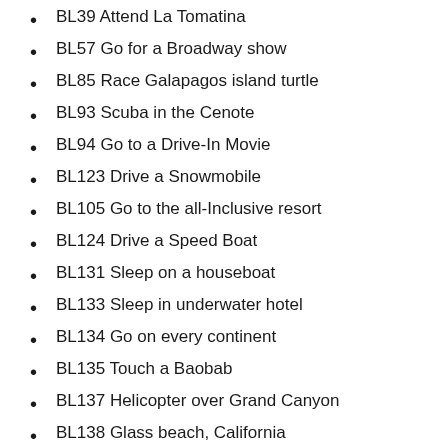BL39 Attend La Tomatina
BL57 Go for a Broadway show
BL85 Race Galapagos island turtle
BL93 Scuba in the Cenote
BL94 Go to a Drive-In Movie
BL123 Drive a Snowmobile
BL105 Go to the all-Inclusive resort
BL124 Drive a Speed Boat
BL131 Sleep on a houseboat
BL133 Sleep in underwater hotel
BL134 Go on every continent
BL135 Touch a Baobab
BL137 Helicopter over Grand Canyon
BL138 Glass beach, California
BL139 Stand Under the Hollywood Sign
BL144 Play at Coney Island | New York
BL147 Niagara Falls